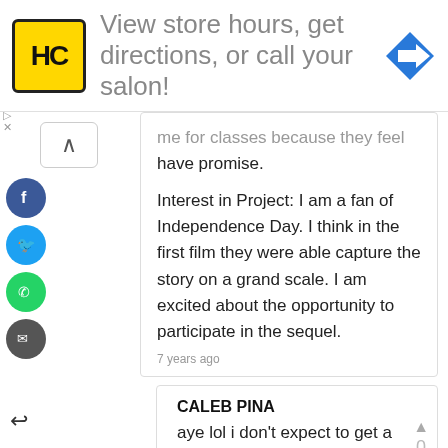[Figure (infographic): Advertisement banner: HC logo, text 'View store hours, get directions, or call your salon!', blue diamond with arrow icon]
me for classes because they feel have promise.
Interest in Project: I am a fan of Independence Day. I think in the first film they were able capture the story on a grand scale. I am excited about the opportunity to participate in the sequel.
7 years ago
CALEB PINA
aye lol i don't expect to get a part or anything im not going to tell